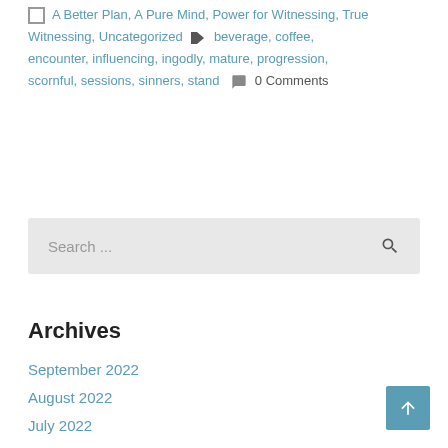A Better Plan, A Pure Mind, Power for Witnessing, True Witnessing, Uncategorized  [tag icon] beverage, coffee, encounter, influencing, ingodly, mature, progression, scornful, sessions, sinners, stand  [comment icon] 0 Comments
Search ...
Archives
September 2022
August 2022
July 2022
June 2022
May 2022